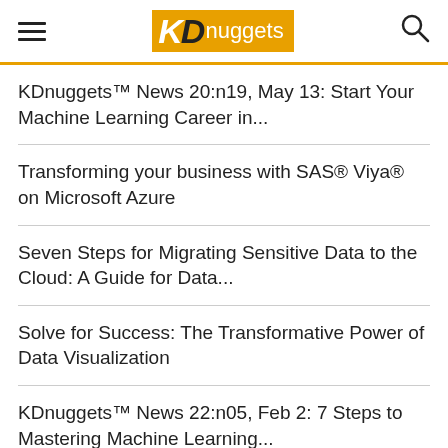KDnuggets
KDnuggets™ News 20:n19, May 13: Start Your Machine Learning Career in...
Transforming your business with SAS® Viya® on Microsoft Azure
Seven Steps for Migrating Sensitive Data to the Cloud: A Guide for Data...
Solve for Success: The Transformative Power of Data Visualization
KDnuggets™ News 22:n05, Feb 2: 7 Steps to Mastering Machine Learning...
KDnuggets™ News 20:n15, Apr 15: How to Do...